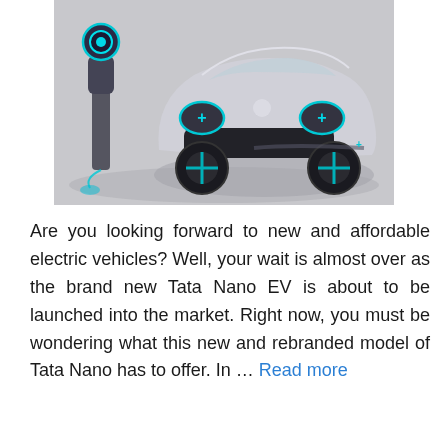[Figure (illustration): Concept render of a silver Tata Nano electric vehicle with teal/cyan LED headlights and a cross-shaped wheel design, shown alongside an EV charging station with a teal glowing connector. The background is light grey.]
Are you looking forward to new and affordable electric vehicles? Well, your wait is almost over as the brand new Tata Nano EV is about to be launched into the market. Right now, you must be wondering what this new and rebranded model of Tata Nano has to offer. In … Read more